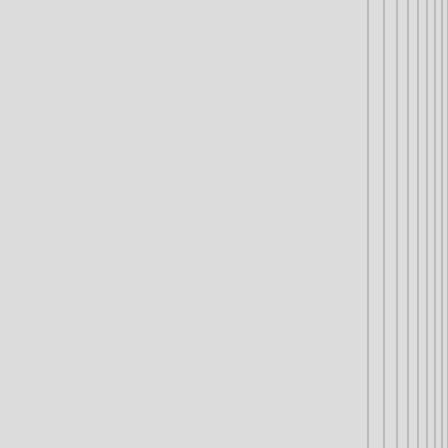species.
odograph on July 16, 2006 - 10:00am Permalink | Parent | Comments top
<shrug>.  You guys are speaking from your gut.  This is a form of "truthiness  Maybe it's "common sense" or maybe you just